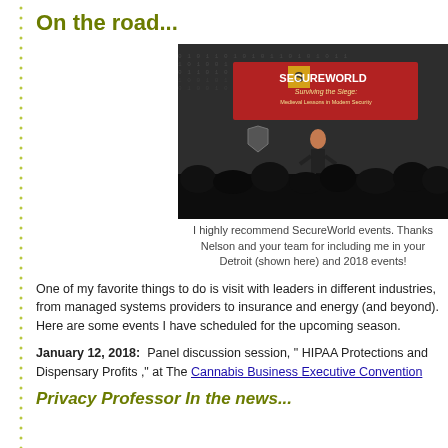On the road...
[Figure (photo): Speaker on stage at SecureWorld event with red banner reading 'SECUREWORLD Surviving the Siege: Medieval Lessons in Modern Security', audience visible in foreground]
I highly recommend SecureWorld events. Thanks Nelson and your team for including me in your Detroit (shown here) and 2018 events!
One of my favorite things to do is visit with leaders in different industries, from managed systems providers to insurance and energy (and beyond). Here are some events I have scheduled for the upcoming season.
January 12, 2018: Panel discussion session, " HIPAA Protections and Dispensary Profits ," at The Cannabis Business Executive Convention
Privacy Professor In the news...